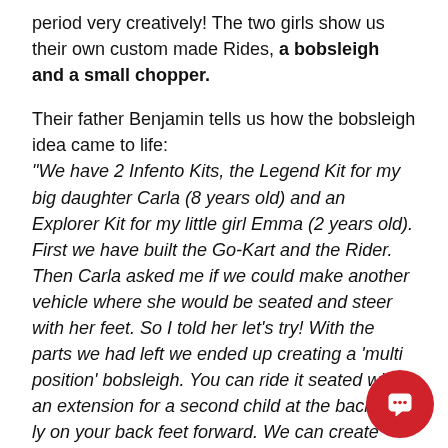period very creatively! The two girls show us their own custom made Rides, a bobsleigh and a small chopper.
Their father Benjamin tells us how the bobsleigh idea came to life: "We have 2 Infento Kits, the Legend Kit for my big daughter Carla (8 years old) and an Explorer Kit for my little girl Emma (2 years old). First we have built the Go-Kart and the Rider. Then Carla asked me if we could make another vehicle where she would be seated and steer with her feet. So I told her let's try! With the parts we had left we ended up creating a 'multi position' bobsleigh. You can ride it seated with an extension for a second child at the back, or ly on your back feet forward. We can create